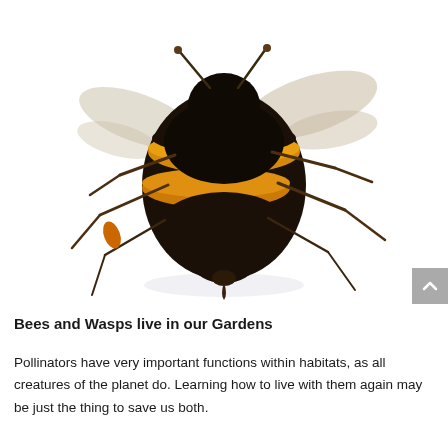[Figure (photo): Close-up photograph of a bumblebee on a white background, viewed from above/side angle. The bee has distinctive black and yellow/orange banded coloring with visible wings, legs, and fuzzy body.]
Bees and Wasps live in our Gardens
Pollinators have very important functions within habitats, as all creatures of the planet do. Learning how to live with them again may be just the thing to save us both.